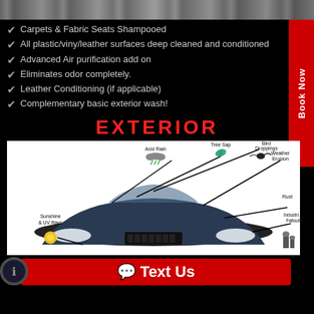[Figure (photo): Top strip showing car interior/exterior surface photo]
Carpets & Fabric Seats Shampooed
All plastic/viny/leather surfaces deep cleaned and conditioned
Advanced Air purification add on
Eliminates odor completely.
Leather Conditioning (if applicable)
Complementary basic exterior wash!
EXTERIOR
[Figure (infographic): Car diagram showing exterior threats: Acid Rain, Tree Sap, Bird Droppings, Weather Erosion, Sunshine & UV Rays, Rust, Industrial Fallout — with lines pointing to a BMW car]
Book Now
Text Us